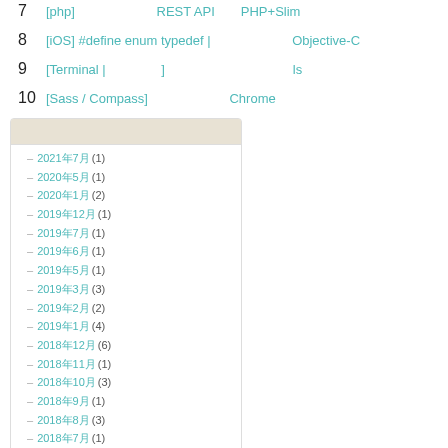7  [php] REST API PHP+Slim
8  [iOS] #define enum typedef | Objective-C
9  [Terminal | ] ls
10  [Sass / Compass] Chrome
アーカイブ
2021年7月 (1)
2020年5月 (1)
2020年1月 (2)
2019年12月 (1)
2019年7月 (1)
2019年6月 (1)
2019年5月 (1)
2019年3月 (3)
2019年2月 (2)
2019年1月 (4)
2018年12月 (6)
2018年11月 (1)
2018年10月 (3)
2018年9月 (1)
2018年8月 (3)
2018年7月 (1)